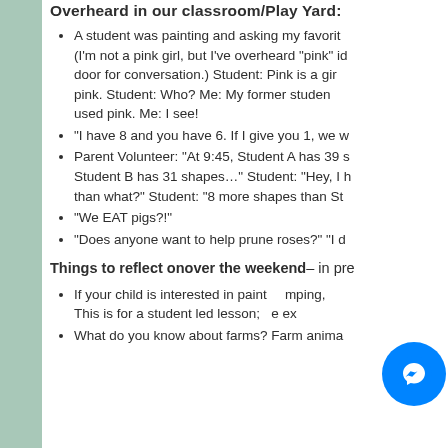Overheard in our classroom/Play Yard:
A student was painting and asking my favorite color (I'm not a pink girl, but I've overheard "pink" id door for conversation.) Student: Pink is a girl pink. Student: Who? Me: My former studen used pink. Me: I see!
"I have 8 and you have 6. If I give you 1, we w
Parent Volunteer: "At 9:45, Student A has 39 s Student B has 31 shapes..." Student: "Hey, I h than what?" Student: "8 more shapes than St
"We EAT pigs?!"
"Does anyone want to help prune roses?" "I d
Things to reflect onover the weekend– in pre
If your child is interested in painting/mping, This is for a student led lesson; we ex
What do you know about farms? Farm anima